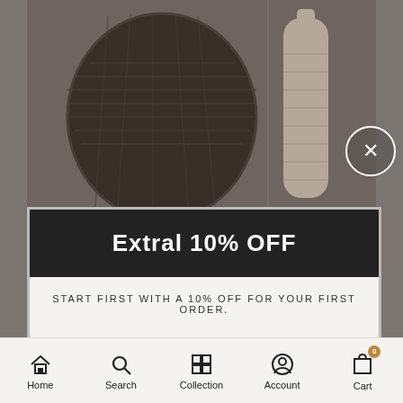[Figure (screenshot): Blurred background of a home decor website showing wicker/rattan decorative vases and baskets in brown/beige tones on a muted grey-brown background]
Extral 10% OFF
START FIRST WITH A 10% OFF FOR YOUR FIRST ORDER.
ENTER YOUR EMAIL
ACTIVATE DISCOUNT
Powered by
omnisend
TRENDY & STYLE
Our product is wonderfully unique. Each year brings a
Home  Search  Collection  Account  Cart